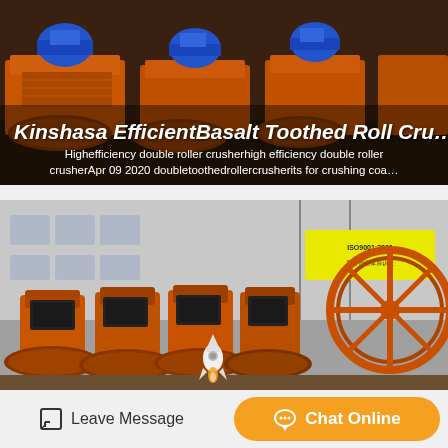[Figure (photo): Orange industrial toothed roll crusher machines with blue electric motors, photographed in a factory setting]
Kinshasa EfficientBasalt Toothed Roll Cru…
Highefficiency double roller crusherhigh efficiency double roller crusherApr 09 2020 doubletoothedrollercrusherits for crushing coa…
[Figure (photo): Large outdoor display of multiple orange industrial crusher and mining machinery units at a factory yard, with a white factory building in the background showing ISO certification signage]
Leave Message
Chat Online